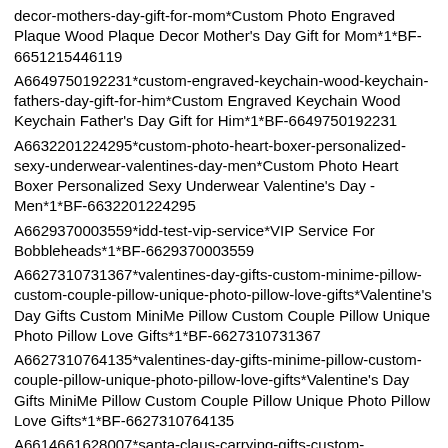decor-mothers-day-gift-for-mom*Custom Photo Engraved Plaque Wood Plaque Decor Mother's Day Gift for Mom*1*BF-6651215446119
A6649750192231*custom-engraved-keychain-wood-keychain-fathers-day-gift-for-him*Custom Engraved Keychain Wood Keychain Father's Day Gift for Him*1*BF-6649750192231
A6632201224295*custom-photo-heart-boxer-personalized-sexy-underwear-valentines-day-men*Custom Photo Heart Boxer Personalized Sexy Underwear Valentine's Day - Men*1*BF-6632201224295
A6629370003559*idd-test-vip-service*VIP Service For Bobbleheads*1*BF-6629370003559
A6627310731367*valentines-day-gifts-custom-minime-pillow-custom-couple-pillow-unique-photo-pillow-love-gifts*Valentine's Day Gifts Custom MiniMe Pillow Custom Couple Pillow Unique Photo Pillow Love Gifts*1*BF-6627310731367
A6627310764135*valentines-day-gifts-minime-pillow-custom-couple-pillow-unique-photo-pillow-love-gifts*Valentine's Day Gifts MiniMe Pillow Custom Couple Pillow Unique Photo Pillow Love Gifts*1*BF-6627310764135
A6614661628007*santa-claus-carrying-gifts-custom-bobblehead-with-engraved-text-1*Santa Claus Carrying Gifts Custom Bobblehead With Engraved Text*1*BF-6614661628007
A6614654615655*svp-32-merry-xmas-hat*SVP-32 Merry Xmas Hat*1*BF-6614654615655